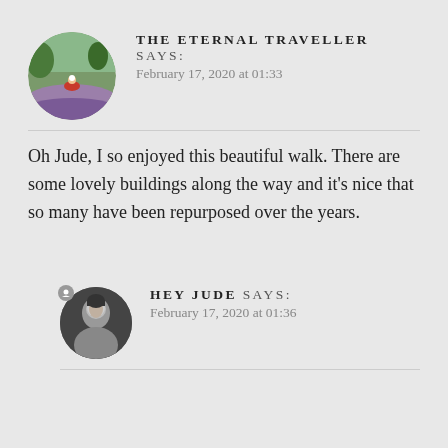THE ETERNAL TRAVELLER says: February 17, 2020 at 01:33
Oh Jude, I so enjoyed this beautiful walk. There are some lovely buildings along the way and it's nice that so many have been repurposed over the years.
HEY JUDE says: February 17, 2020 at 01:36